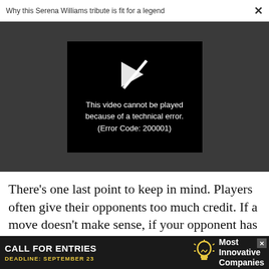Why this Serena Williams tribute is fit for a legend
[Figure (screenshot): Video player showing an error message: 'This video cannot be played because of a technical error. (Error Code: 200001)' with a broken play icon on a black background, set within a dark gray video player area.]
There's one last point to keep in mind. Players often give their opponents too much credit. If a move doesn't make sense, if your opponent has put you in a
[Figure (infographic): Advertisement banner: 'CALL FOR ENTRIES' with 'DEADLINE: SEPTEMBER 23' in yellow, a lightbulb icon, and text 'Most Innovative Companies' on a dark background.]